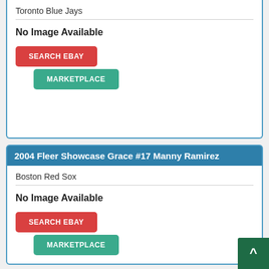2004 Fleer Showcase Grace #?? Carlos Delgado
Toronto Blue Jays
No Image Available
SEARCH EBAY
MARKETPLACE
2004 Fleer Showcase Grace #17 Manny Ramirez
Boston Red Sox
No Image Available
SEARCH EBAY
MARKETPLACE